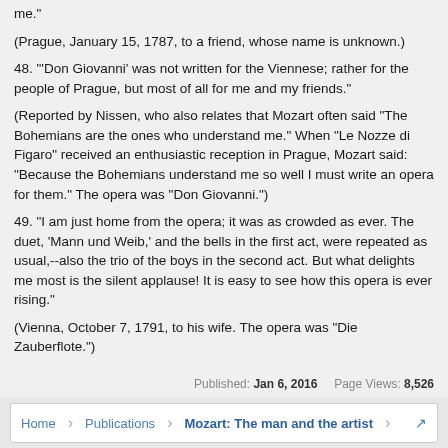me."
(Prague, January 15, 1787, to a friend, whose name is unknown.)
48. "'Don Giovanni' was not written for the Viennese; rather for the people of Prague, but most of all for me and my friends."
(Reported by Nissen, who also relates that Mozart often said "The Bohemians are the ones who understand me." When "Le Nozze di Figaro" received an enthusiastic reception in Prague, Mozart said: "Because the Bohemians understand me so well I must write an opera for them." The opera was "Don Giovanni.")
49. "I am just home from the opera; it was as crowded as ever. The duet, 'Mann und Weib,' and the bells in the first act, were repeated as usual,--also the trio of the boys in the second act. But what delights me most is the silent applause! It is easy to see how this opera is ever rising."
(Vienna, October 7, 1791, to his wife. The opera was "Die Zauberflote.")
Published: Jan 6, 2016   Page Views: 8,526
Home > Publications > Mozart: The man and the artist
Contact Us  Help  Forum software by XenForo™  Terms and Rules